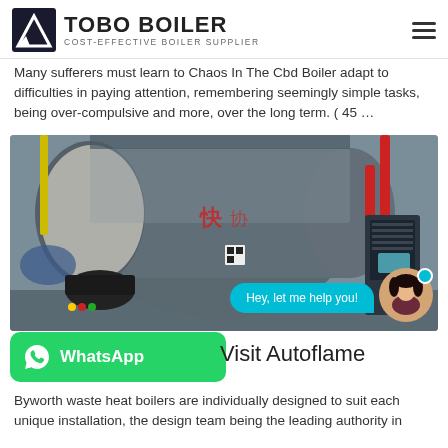TOBO BOILER — COST-EFFECTIVE BOILER SUPPLIER
Many sufferers must learn to Chaos In The Cbd Boiler adapt to difficulties in paying attention, remembering seemingly simple tasks, being over-compulsive and more, over the long term. ( 45 …
[Figure (photo): Industrial gas/oil boiler equipment in a plant room, showing a large cylindrical boiler with Chinese branding, associated pipework, control panels, and red pipework visible on the right side.]
Hey, let me help you!
WhatsApp   Visit Autoflame
Byworth waste heat boilers are individually designed to suit each unique installation, the design team being the leading authority in